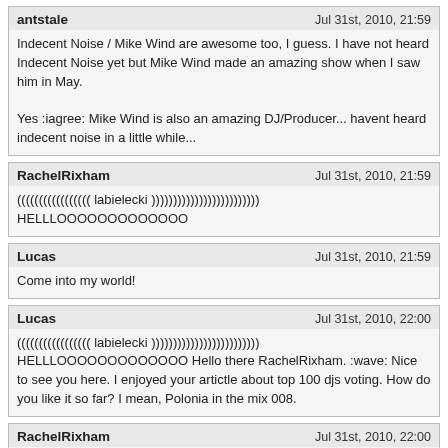antstale | Jul 31st, 2010, 21:59
Indecent Noise / Mike Wind are awesome too, I guess. I have not heard Indecent Noise yet but Mike Wind made an amazing show when I saw him in May.

Yes :iagree: Mike Wind is also an amazing DJ/Producer... havent heard indecent noise in a little while...
RachelRixham | Jul 31st, 2010, 21:59
((((((((((((((((( labielecki ))))))))))))))))))))))))) HELLLOOOOOOOOOOOOO
Lucas | Jul 31st, 2010, 21:59
Come into my world!
Lucas | Jul 31st, 2010, 22:00
((((((((((((((((( labielecki ))))))))))))))))))))))))) HELLLOOOOOOOOOOOOO Hello there RachelRixham. :wave: Nice to see you here. I enjoyed your artictle about top 100 djs voting. How do you like it so far? I mean, Polonia in the mix 008.
RachelRixham | Jul 31st, 2010, 22:00
:ah::clap::clap::clap::clap::clap::clap::clap::clap:
rulebook7 | Jul 31st, 2010, 22:00
choooonnn